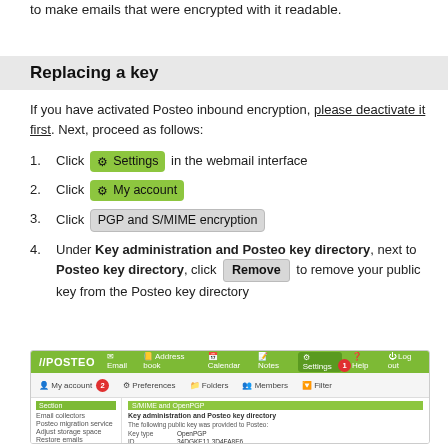to make emails that were encrypted with it readable.
Replacing a key
If you have activated Posteo inbound encryption, please deactivate it first. Next, proceed as follows:
1. Click ⚙ Settings in the webmail interface
2. Click ⚙ My account
3. Click PGP and S/MIME encryption
4. Under Key administration and Posteo key directory, next to Posteo key directory, click Remove to remove your public key from the Posteo key directory
[Figure (screenshot): Screenshot of Posteo webmail interface showing the Settings area with S/MIME and OpenPGP section, Key administration and Posteo key directory panel, with numbered red circle indicators at Settings (1) and My account (2)]